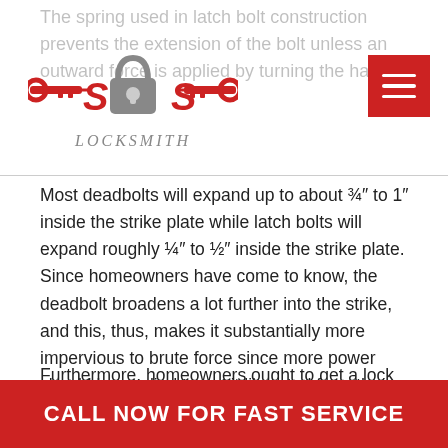The spring used in latch bolt construction prevents the extension of the bolt unless an outward force is applied by turning the handle
[Figure (logo): SOS Locksmith logo with keys and padlock icon]
Most deadbolts will expand up to about ¾″ to 1″ inside the strike plate while latch bolts will expand roughly ¼″ to ½″ inside the strike plate. Since homeowners have come to know, the deadbolt broadens a lot further into the strike, and this, thus, makes it substantially more impervious to brute force since more power should be applied to get it liberated from the strike.
Furthermore, homeowners ought to get a lock that is of the highest grade, which fundamentally
CALL NOW FOR FAST SERVICE